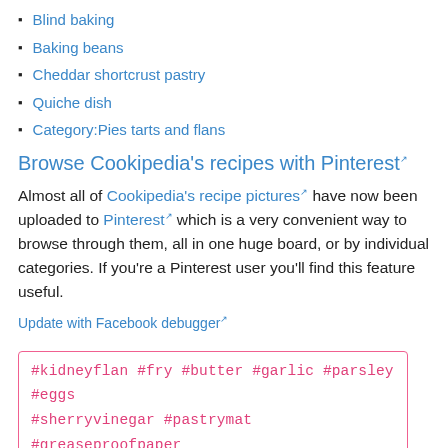Blind baking
Baking beans
Cheddar shortcrust pastry
Quiche dish
Category:Pies tarts and flans
Browse Cookipedia's recipes with Pinterest
Almost all of Cookipedia's recipe pictures have now been uploaded to Pinterest which is a very convenient way to browse through them, all in one huge board, or by individual categories. If you're a Pinterest user you'll find this feature useful.
Update with Facebook debugger
#kidneyflan #fry #butter #garlic #parsley #eggs #sherryvinegar #pastrymat #greaseproofpaper